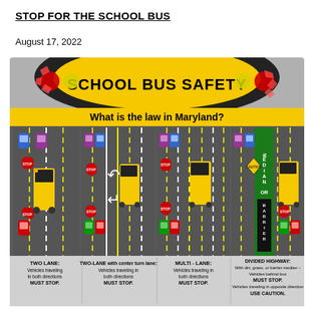STOP FOR THE SCHOOL BUS
August 17, 2022
[Figure (infographic): School Bus Safety infographic titled 'What is the law in Maryland?' showing four road scenarios: TWO LANE (vehicles traveling in both directions MUST STOP), TWO-LANE with center turn lane (vehicles traveling in both directions MUST STOP), MULTI-LANE (vehicles traveling in both directions MUST STOP), DIVIDED HIGHWAY with dirt, grass, or barrier median (vehicles behind bus MUST STOP; vehicles traveling in opposite direction USE CAUTION). The infographic features illustrations of school buses, cars with stop signs, and road lane markings on a gray background with yellow and black headers.]